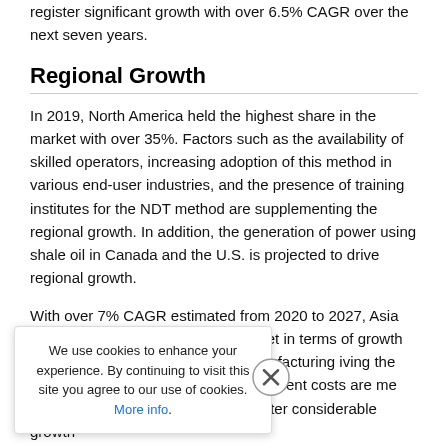register significant growth with over 6.5% CAGR over the next seven years.
Regional Growth
In 2019, North America held the highest share in the market with over 35%. Factors such as the availability of skilled operators, increasing adoption of this method in various end-user industries, and the presence of training institutes for the NDT method are supplementing the regional growth. In addition, the generation of power using shale oil in Canada and the U.S. is projected to drive regional growth.
With over 7% CAGR estimated from 2020 to 2027, Asia Pacific is projected to lead the market in terms of growth ng rapid growth in the tion, and manufacturing iving the growth. However, the and high equipment costs are me extent. On the other hand, d to register considerable growth